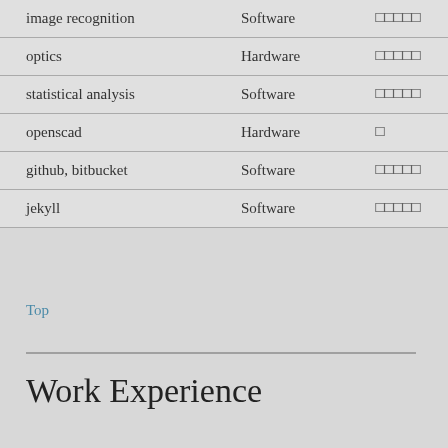|  |  |  |
| --- | --- | --- |
| image recognition | Software | □□□□□ |
| optics | Hardware | □□□□□ |
| statistical analysis | Software | □□□□□ |
| openscad | Hardware | □ |
| github, bitbucket | Software | □□□□□ |
| jekyll | Software | □□□□□ |
Top
Work Experience
| Company | Knowledge Conferences |
| --- | --- |
| Timeframe | 2017-Present |